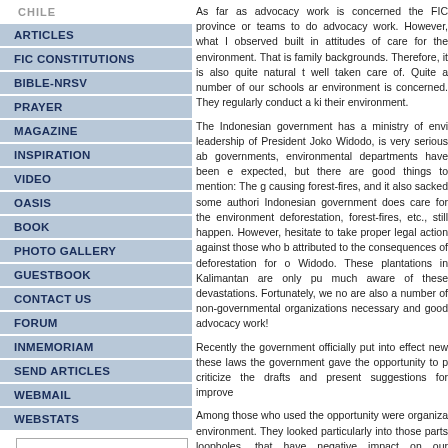CHILE
ARTICLES
FIC CONSTITUTIONS
BIBLE-NRSV
PRAYER
MAGAZINE
INSPIRATION
VIDEO
OASIS
BOOK
PHOTO GALLERY
GUESTBOOK
CONTACT US
FORUM
INMEMORIAM
SEND ARTICLES
WEBMAIL
WEBSTATS
As far as advocacy work is concerned the FIC province or teams to do advocacy work. However, what I observed built in attitudes of care for the environment. That is family backgrounds. Therefore, it is also quite natural that well taken care of. Quite a number of our schools and environment is concerned. They regularly conduct a kind of their environment.
The Indonesian government has a ministry of environment. Under the leadership of President Joko Widodo, is very serious about environmental issues. In the local governments, environmental departments have been established. Not always as expected, but there are good things to mention: The government arrested companies causing forest-fires, and it also sacked some authorities for negligence. The Indonesian government does care for the environment. Nevertheless, problems like deforestation, forest-fires, etc., still happen. However, the government does not hesitate to take proper legal action against those who break the law. This can be attributed to the consequences of deforestation for our environment by President Widodo. These plantations in Kalimantan are only pushing the government to be much aware of these devastations. Fortunately, we now see that in Indonesia there are also a number of non-governmental organizations that are doing very necessary and good advocacy work!
Recently the government officially put into effect new environmental laws. Before these laws the government gave the opportunity to people and organizations to criticize the drafts and present suggestions for improvements.
Among those who used the opportunity were organizations that cared for the environment. They looked particularly into those parts of the law that contained loopholes, that have negative impact on our environment. Their reactions were presented and discussed in public. Everyone, every Indonesian citizen showed great interest in it. It was very interesting! Parts of the draft that were worked out to the disadvantage of our environment were clearly pointed out.
This research and advocacy and the interest of the pub
The Indonesian Church?